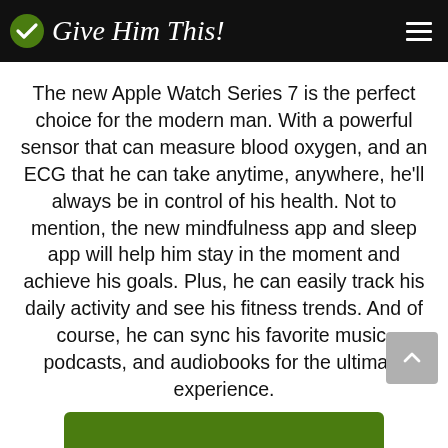Give Him This!
The new Apple Watch Series 7 is the perfect choice for the modern man. With a powerful sensor that can measure blood oxygen, and an ECG that he can take anytime, anywhere, he'll always be in control of his health. Not to mention, the new mindfulness app and sleep app will help him stay in the moment and achieve his goals. Plus, he can easily track his daily activity and see his fitness trends. And of course, he can sync his favorite music, podcasts, and audiobooks for the ultimate experience.